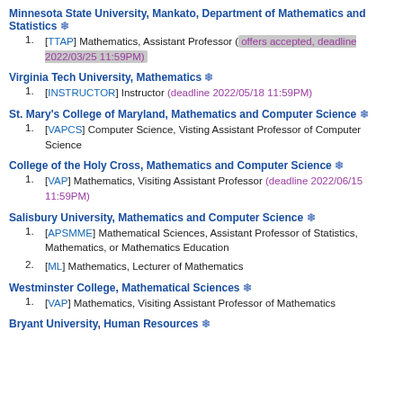Minnesota State University, Mankato, Department of Mathematics and Statistics ❄
[TTAP] Mathematics, Assistant Professor (offers accepted, deadline 2022/03/25 11:59PM)
Virginia Tech University, Mathematics ❄
[INSTRUCTOR] Instructor (deadline 2022/05/18 11:59PM)
St. Mary's College of Maryland, Mathematics and Computer Science ❄
[VAPCS] Computer Science, Visting Assistant Professor of Computer Science
College of the Holy Cross, Mathematics and Computer Science ❄
[VAP] Mathematics, Visiting Assistant Professor (deadline 2022/06/15 11:59PM)
Salisbury University, Mathematics and Computer Science ❄
[APSMME] Mathematical Sciences, Assistant Professor of Statistics, Mathematics, or Mathematics Education
[ML] Mathematics, Lecturer of Mathematics
Westminster College, Mathematical Sciences ❄
[VAP] Mathematics, Visiting Assistant Professor of Mathematics
Bryant University, Human Resources ❄